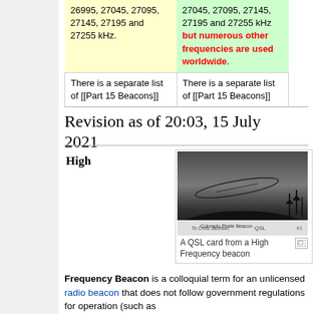| Col1 | Col2 |
| --- | --- |
| 26995, 27045, 27095, 27145, 27195 and 27255 kHz. | 27045, 27095, 27145, 27195 and 27255 kHz but numerous other frequencies are used worldwide. |
| There is a separate list of [[Part 15 Beacons]] | There is a separate list of [[Part 15 Beacons]] |
Revision as of 20:03, 15 July 2021
High
[Figure (photo): A QSL card from a High Frequency beacon — black and white photo showing a landscape with antenna and trees, with handwritten text and 'Colorado Pirate Beacon' caption]
A QSL card from a High Frequency beacon
Frequency Beacon is a colloquial term for an unlicensed radio beacon that does not follow government regulations for operation (such as